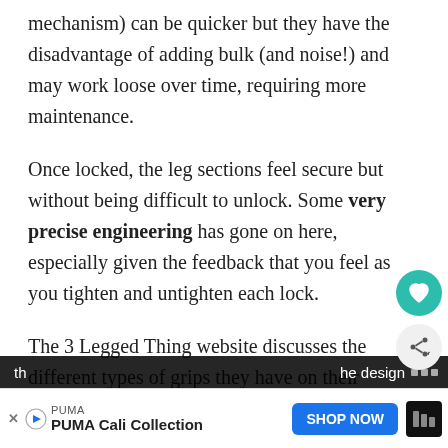mechanism) can be quicker but they have the disadvantage of adding bulk (and noise!) and may work loose over time, requiring more maintenance.
Once locked, the leg sections feel secure but without being difficult to unlock. Some very precise engineering has gone on here, especially given the feedback that you feel as you tighten and untighten each lock.
The 3 Legged Thing website discusses the different types of grips they have on their various tripod models, and the rubber and texture is clearly an area
th ...he design
[Figure (other): Advertisement bar: PUMA brand logo, text 'PUMA Cali Collection', blue 'SHOP NOW' button, and a dark icon with dots on the right. X/close button and arrow on the left.]